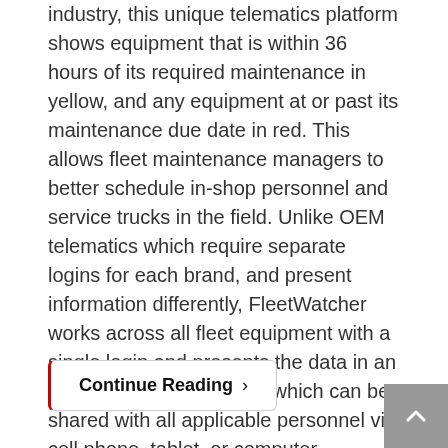industry, this unique telematics platform shows equipment that is within 36 hours of its required maintenance in yellow, and any equipment at or past its maintenance due date in red. This allows fleet maintenance managers to better schedule in-shop personnel and service trucks in the field. Unlike OEM telematics which require separate logins for each brand, and present information differently, FleetWatcher works across all fleet equipment with a single login and presents the data in an easily understood format which can be shared with all applicable personnel via cell phone, tablet, or computer. FleetWatcher CMS is ideal for heavy construction contractors of all types and sizes.
Continue Reading >